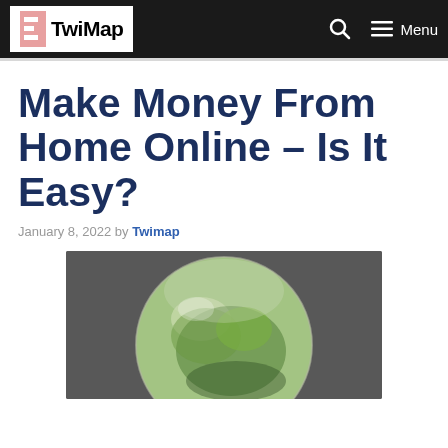TwiMap | Menu
Make Money From Home Online – Is It Easy?
January 8, 2022 by Twimap
[Figure (photo): A glass globe or orb reflecting green trees and foliage, placed on a dark gray background.]